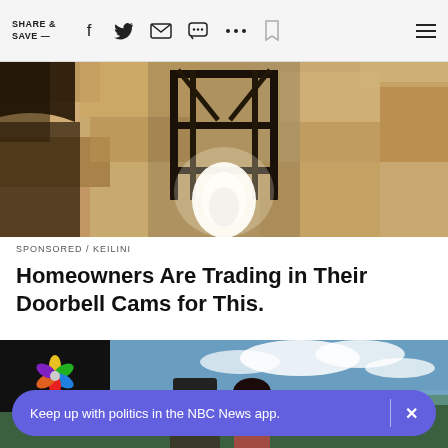SHARE & SAVE —
[Figure (photo): Close-up photo of a dark metal lantern light fixture mounted on a textured stone wall, with a glowing white bulb visible inside]
SPONSORED / KEILINI
Homeowners Are Trading in Their Doorbell Cams for This.
[Figure (photo): NBC News branded section showing a couple standing outdoors on a hilltop with a scenic landscape behind them, man wearing a dark cap and shirt, woman with dark hair smiling]
Keep up with politics in the NBC News app.